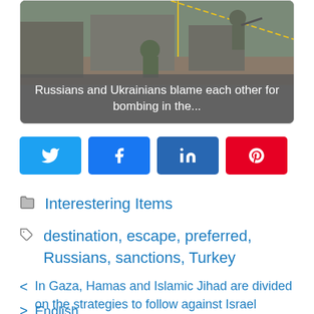[Figure (photo): Soldiers in military gear with a caption overlay reading 'Russians and Ukrainians blame each other for bombing in the...']
Russians and Ukrainians blame each other for bombing in the...
[Figure (infographic): Social share buttons: Twitter, Facebook, LinkedIn, Pinterest]
Interestering Items
destination, escape, preferred, Russians, sanctions, Turkey
< In Gaza, Hamas and Islamic Jihad are divided on the strategies to follow against Israel
> English